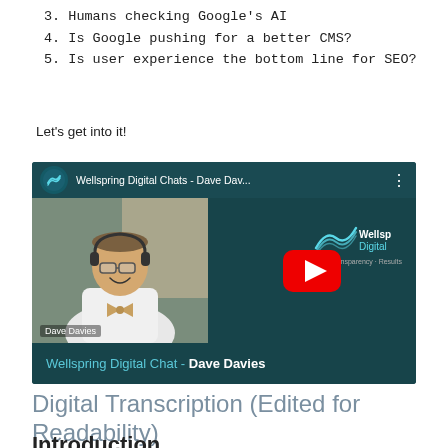3. Humans checking Google's AI
4. Is Google pushing for a better CMS?
5. Is user experience the bottom line for SEO?
Let's get into it!
[Figure (screenshot): YouTube video embed thumbnail showing 'Wellspring Digital Chats - Dave Dav...' with a man wearing glasses and a headset with a bow tie, and the Wellspring Digital logo. Bottom text reads: Wellspring Digital Chat - Dave Davies]
Digital Transcription (Edited for Readability)
Introduction